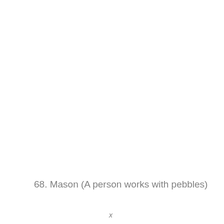68. Mason (A person works with pebbles)
x